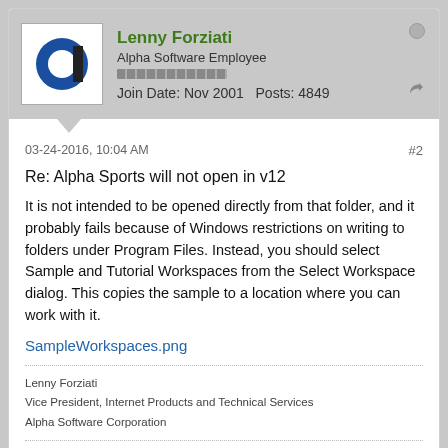Lenny Forziati | Alpha Software Employee | Join Date: Nov 2001  Posts: 4849
03-24-2016, 10:04 AM
#2
Re: Alpha Sports will not open in v12
It is not intended to be opened directly from that folder, and it probably fails because of Windows restrictions on writing to folders under Program Files. Instead, you should select Sample and Tutorial Workspaces from the Select Workspace dialog. This copies the sample to a location where you can work with it.
SampleWorkspaces.png
Lenny Forziati
Vice President, Internet Products and Technical Services
Alpha Software Corporation
Scott Kurimski